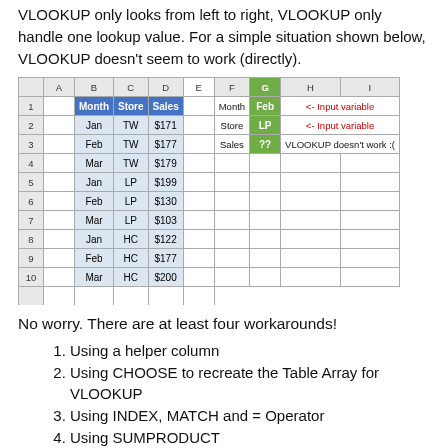VLOOKUP only looks from left to right, VLOOKUP only handle one lookup value.  For a simple situation shown below, VLOOKUP doesn't seem to work (directly).
[Figure (screenshot): A spreadsheet screenshot showing columns A through I. Columns B (Month), C (Store), D (Sales) contain data rows 1-10 with a blue header row. Rows show Jan/Feb/Mar for stores TW, LP, HC with dollar values. Columns F-I on the right show lookup inputs: Month=Feb, Store=LP, Sales=?? with VLOOKUP doesn't work :( note. Red arrows labeled '<- Input variable' point to G1 and G2.]
No worry. There are at least four workarounds!
Using a helper column
Using CHOOSE to recreate the Table Array for VLOOKUP
Using INDEX, MATCH and = Operator
Using SUMPRODUCT